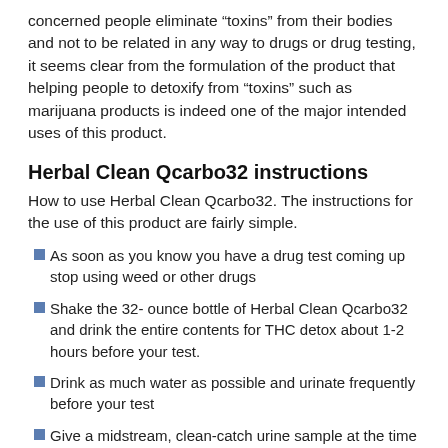concerned people eliminate “toxins” from their bodies and not to be related in any way to drugs or drug testing, it seems clear from the formulation of the product that helping people to detoxify from “toxins” such as marijuana products is indeed one of the major intended uses of this product.
Herbal Clean Qcarbo32 instructions
How to use Herbal Clean Qcarbo32. The instructions for the use of this product are fairly simple.
As soon as you know you have a drug test coming up stop using weed or other drugs
Shake the 32- ounce bottle of Herbal Clean Qcarbo32 and drink the entire contents for THC detox about 1-2 hours before your test.
Drink as much water as possible and urinate frequently before your test
Give a midstream, clean-catch urine sample at the time of your test